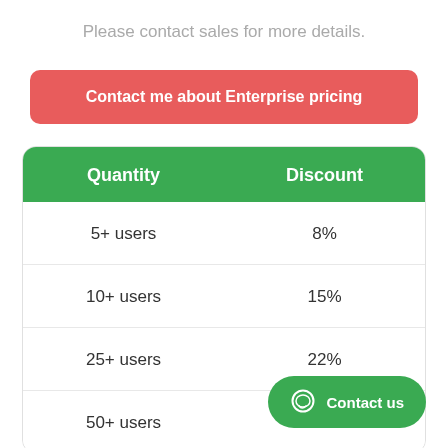Please contact sales for more details.
Contact me about Enterprise pricing
| Quantity | Discount |
| --- | --- |
| 5+ users | 8% |
| 10+ users | 15% |
| 25+ users | 22% |
| 50+ users |  |
Contact us